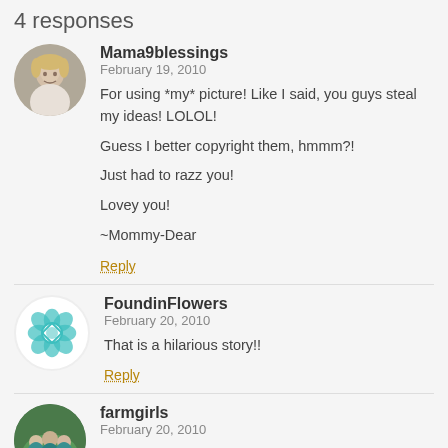4 responses
Mama9blessings
February 19, 2010

For using *my* picture! Like I said, you guys steal my ideas! LOLOL!

Guess I better copyright them, hmmm?!

Just had to razz you!

Lovey you!

~Mommy-Dear

Reply
FoundinFlowers
February 20, 2010

That is a hilarious story!!

Reply
farmgirls
February 20, 2010